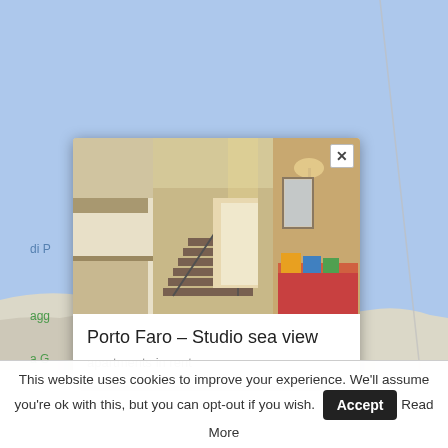[Figure (screenshot): Google Maps view showing coastal area near Palau, Sardinia, with light blue water and land mass. Shows labels 'di P', 'agg', 'a G', and 'Pineta di Palau vecchio' with a green tree/location icon. A popup card overlay shows an interior photo of an apartment with stairs, titled 'Porto Faro – Studio sea view' with subtitle 'apartments in rent' and a close (X) button.]
This website uses cookies to improve your experience. We'll assume you're ok with this, but you can opt-out if you wish.
Accept
Read More